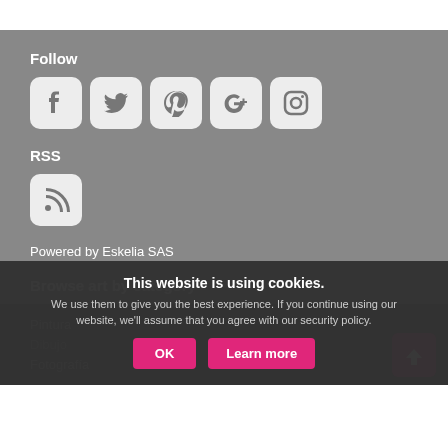Follow
[Figure (other): Social media icons: Facebook, Twitter, Pinterest, Google+, Instagram]
RSS
[Figure (other): RSS feed icon]
Powered by Eskelia SAS
Browse art by category
Pintura
Dibujo
Fotografía
This website is using cookies. We use them to give you the best experience. If you continue using our website, we'll assume that you agree with our security policy.